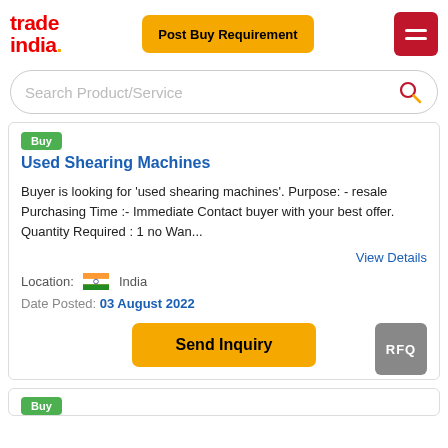[Figure (logo): TradeIndia logo with red text 'trade' and 'india.' with yellow dot]
Post Buy Requirement
[Figure (other): Hamburger menu icon on red background]
Search Product/Service
Used Shearing Machines
Buyer is looking for 'used shearing machines'. Purpose: - resale Purchasing Time :- Immediate Contact buyer with your best offer. Quantity Required : 1 no Wan...
View Details
Location:  India
Date Posted: 03 August 2022
Send Inquiry
RFQ
Buy